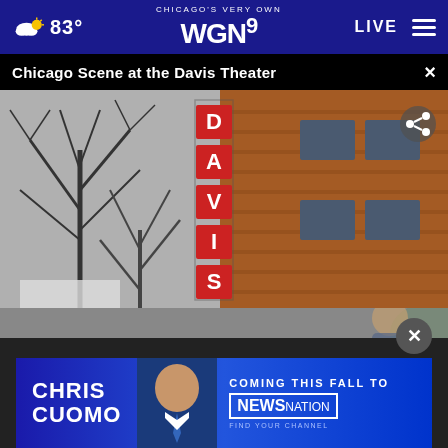Chicago's Very Own WGN9  83°  LIVE
Chicago Scene at the Davis Theater
[Figure (photo): Exterior photo of the Davis Theater in Chicago showing brick building facade with vertical DAVIS sign and bare winter trees in foreground]
[Figure (photo): Chris Cuomo advertisement banner: CHRIS CUOMO, COMING THIS FALL TO NEWSNATION, FIND YOUR CHANNEL]